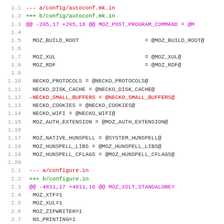Diff output showing changes to config/autoconf.mk.in and configure.in
1.1  --- a/config/autoconf.mk.in
1.2  +++ b/config/autoconf.mk.in
1.3  @@ -205,17 +205,16 @@ MOZ_POST_PROGRAM_COMMAND = @M
1.4  (blank)
1.5   MOZ_BUILD_ROOT                    = @MOZ_BUILD_ROOT@
1.6  (blank)
1.7   MOZ_XUL                           = @MOZ_XUL@
1.8   MOZ_RDF                           = @MOZ_RDF@
1.9  (blank)
1.10  NECKO_PROTOCOLS = @NECKO_PROTOCOLS@
1.11  NECKO_DISK_CACHE = @NECKO_DISK_CACHE@
1.12 -NECKO_SMALL_BUFFERS = @NECKO_SMALL_BUFFERS@
1.13  NECKO_COOKIES = @NECKO_COOKIES@
1.14  NECKO_WIFI = @NECKO_WIFI@
1.15  MOZ_AUTH_EXTENSION = @MOZ_AUTH_EXTENSION@
1.16  (blank)
1.17  MOZ_NATIVE_HUNSPELL = @SYSTEM_HUNSPELL@
1.18  MOZ_HUNSPELL_LIBS = @MOZ_HUNSPELL_LIBS@
1.19  MOZ_HUNSPELL_CFLAGS = @MOZ_HUNSPELL_CFLAGS@
1.20  (blank)
2.1  --- a/configure.in
2.2  +++ b/configure.in
2.3  @@ -4811,17 +4811,16 @@ MOZ_XSLT_STANDALONE=
2.4   MOZ_XTF=1
2.5   MOZ_XUL=1
2.6   MOZ_ZIPWRITER=1
2.7   NS_PRINTING=1
2.8   NECKO_WIFI=1
2.9   NECKO_COOKIES=1
2.10  NECKO_DISK_CACHE=1
2.11  NECKO_PROTOCOLS_DEFAULT="about data file ftp gophe